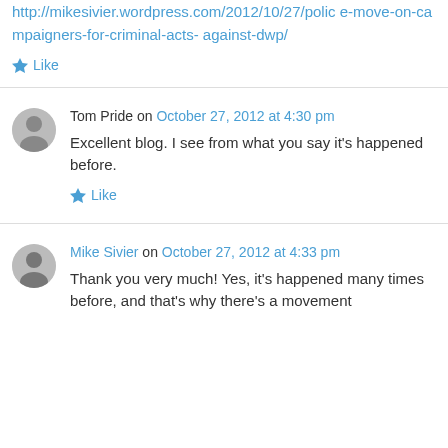http://mikesivier.wordpress.com/2012/10/27/police-move-on-campaigners-for-criminal-acts-against-dwp/
Like
Tom Pride on October 27, 2012 at 4:30 pm
Excellent blog. I see from what you say it's happened before.
Like
Mike Sivier on October 27, 2012 at 4:33 pm
Thank you very much! Yes, it's happened many times before, and that's why there's a movement